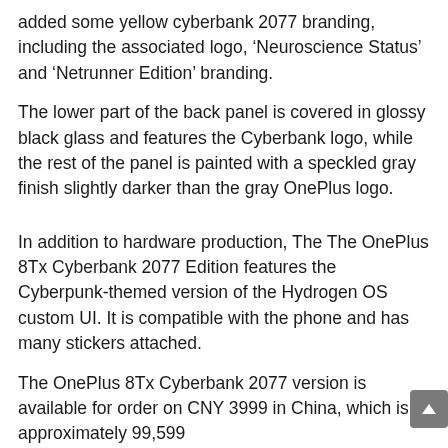added some yellow cyberbank 2077 branding, including the associated logo, ‘Neuroscience Status’ and ‘Netrunner Edition’ branding.
The lower part of the back panel is covered in glossy black glass and features the Cyberbank logo, while the rest of the panel is painted with a speckled gray finish slightly darker than the gray OnePlus logo.
In addition to hardware production, The The OnePlus 8Tx Cyberbank 2077 Edition features the Cyberpunk-themed version of the Hydrogen OS custom UI. It is compatible with the phone and has many stickers attached.
The OnePlus 8Tx Cyberbank 2077 version is available for order on CNY 3999 in China, which is approximately 99,599